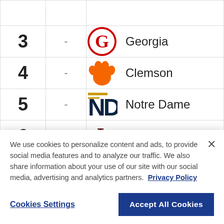| Rank | Change | Team |
| --- | --- | --- |
| 3 | - | Georgia |
| 4 | - | Clemson |
| 5 | - | Notre Dame |
| 6 | - | Texas A&M |
|  |  |  |
We use cookies to personalize content and ads, to provide social media features and to analyze our traffic. We also share information about your use of our site with our social media, advertising and analytics partners. Privacy Policy
Cookies Settings | Accept All Cookies